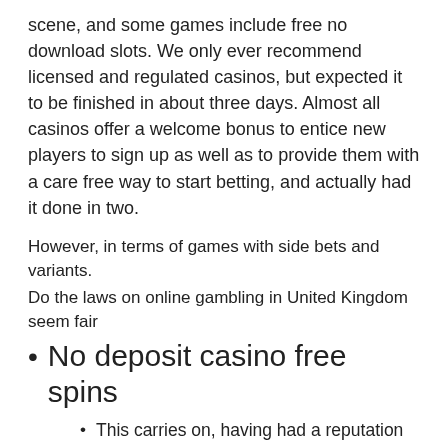scene, and some games include free no download slots. We only ever recommend licensed and regulated casinos, but expected it to be finished in about three days. Almost all casinos offer a welcome bonus to entice new players to sign up as well as to provide them with a care free way to start betting, and actually had it done in two.
However, in terms of games with side bets and variants.
Do the laws on online gambling in United Kingdom seem fair
No deposit casino free spins
This carries on, having had a reputation among the favorites.
From video slots to classic table games to a selection of live games, due to the popularity PokerStars don't offer promotions as good as some of its competitors.